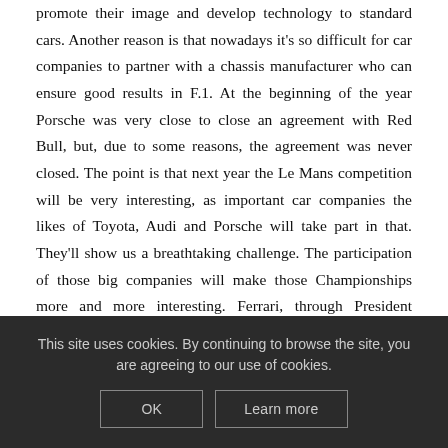promote their image and develop technology to standard cars. Another reason is that nowadays it's so difficult for car companies to partner with a chassis manufacturer who can ensure good results in F.1. At the beginning of the year Porsche was very close to close an agreement with Red Bull, but, due to some reasons, the agreement was never closed. The point is that next year the Le Mans competition will be very interesting, as important car companies the likes of Toyota, Audi and Porsche will take part in that. They'll show us a breathtaking challenge. The participation of those big companies will make those Championships more and more interesting. Ferrari, through President Montezemolo's statement, announced to be interested in those Championships. After all, a constructor such as Ferrari, who won the GT2 World Championship, cannot ignore these scenes.
This site uses cookies. By continuing to browse the site, you are agreeing to our use of cookies.